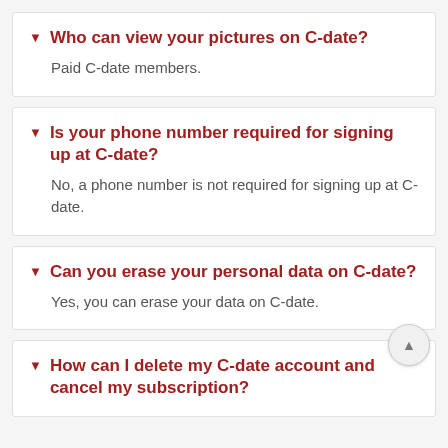Who can view your pictures on C-date?
Paid C-date members.
Is your phone number required for signing up at C-date?
No, a phone number is not required for signing up at C-date.
Can you erase your personal data on C-date?
Yes, you can erase your data on C-date.
How can I delete my C-date account and cancel my subscription?